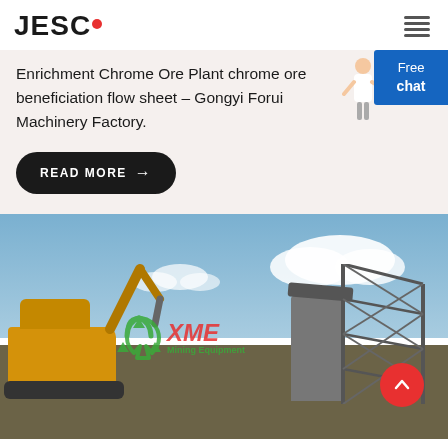JESCO
Enrichment Chrome Ore Plant chrome ore beneficiation flow sheet - Gongyi Forui Machinery Factory.
READ MORE →
[Figure (photo): Industrial mining site showing a yellow excavator on the left and a large grey processing/screening machine tower with metal truss structure on the right, against a blue sky with clouds. XME Mining Equipment watermark overlaid in red and green.]